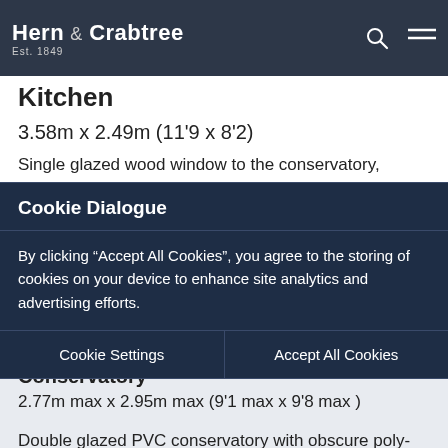Hern & Crabtree Est. 1849
Kitchen
3.58m x 2.49m (11'9 x 8'2)
Single glazed wood window to the conservatory, glazed door way into kitchen, fitted with a range of base and wall units with work tops over. Four ring Neff integrated hob with integrated double Neff oven and grill mixer tap, night storage heater, space for fridge freezer.
Cookie Dialogue
By clicking “Accept All Cookies”, you agree to the storing of cookies on your device to enhance site analytics and advertising efforts.
Cookie Settings
Accept All Cookies
Conservatory
2.77m max x 2.95m max (9'1 max x 9'8 max )
Double glazed PVC conservatory with obscure poly-carbonate roof, French doors to the garden, vinyl floor, night storage heater, power and light.